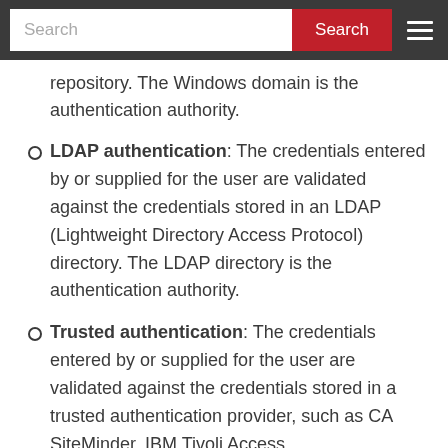repository. The Windows domain is the authentication authority.
LDAP authentication: The credentials entered by or supplied for the user are validated against the credentials stored in an LDAP (Lightweight Directory Access Protocol) directory. The LDAP directory is the authentication authority.
Trusted authentication: The credentials entered by or supplied for the user are validated against the credentials stored in a trusted authentication provider, such as CA SiteMinder, IBM Tivoli Access